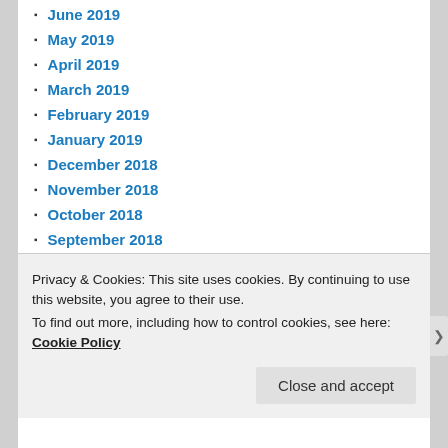June 2019
May 2019
April 2019
March 2019
February 2019
January 2019
December 2018
November 2018
October 2018
September 2018
July 2018
June 2018
May 2018
March 2018
February 2018
Privacy & Cookies: This site uses cookies. By continuing to use this website, you agree to their use.
To find out more, including how to control cookies, see here: Cookie Policy